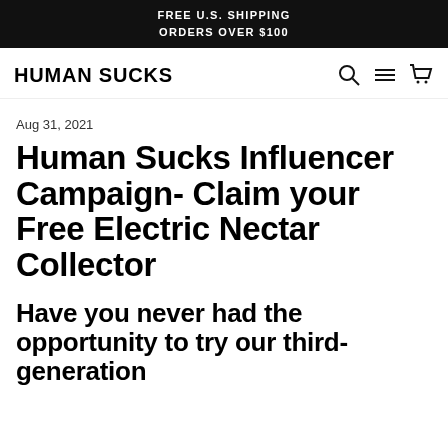FREE U.S. SHIPPING
ORDERS OVER $100
HUMAN SUCKS
Aug 31, 2021
Human Sucks Influencer Campaign- Claim your Free Electric Nectar Collector
Have you never had the opportunity to try our third-generation